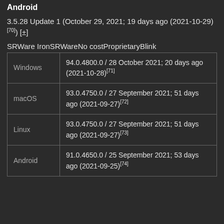Android
3.5.28 Update 1 (October 29, 2021; 19 days ago (2021-10-29)[70]) [±]
SRWare IronSRWareNo costProprietaryBlink
| OS | Version |
| --- | --- |
| Windows | 94.0.4800.0 / 28 October 2021; 20 days ago (2021-10-28)[71] |
| macOS | 93.0.4750.0 / 27 September 2021; 51 days ago (2021-09-27)[72] |
| Linux | 93.0.4750.0 / 27 September 2021; 51 days ago (2021-09-27)[73] |
| Android | 91.0.4650.0 / 25 September 2021; 53 days ago (2021-09-25)[74] |